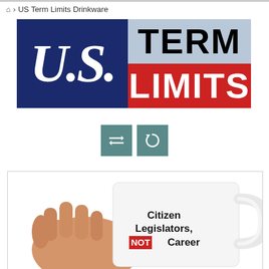US Term Limits Drinkware
[Figure (logo): U.S. Term Limits logo. Left half: navy blue background with white italic serif 'U.S.' text. Right half: top section light blue with black bold 'TERM', bottom section red with white bold 'LIMITS'.]
[Figure (other): Two teal/steel-blue square icon buttons: first with a swap/compare arrows icon, second with a refresh/rotate arrows icon.]
[Figure (photo): A white coffee mug being held by a hand. The mug displays text: 'Citizen Legislators, NOT Career' where NOT appears in white text on a red background rectangle.]